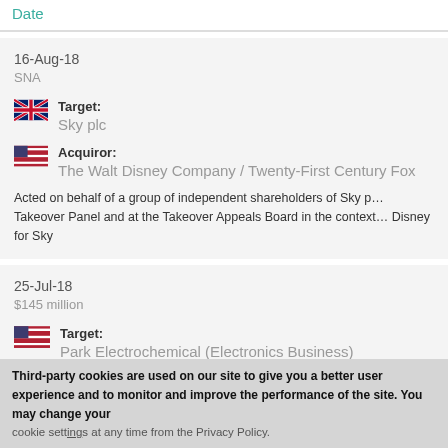Date
16-Aug-18
SNA
Target: Sky plc
Acquiror: The Walt Disney Company / Twenty-First Century Fox
Acted on behalf of a group of independent shareholders of Sky p... Takeover Panel and at the Takeover Appeals Board in the context... Disney for Sky
25-Jul-18
$145 million
Target: Park Electrochemical (Electronics Business)
Third-party cookies are used on our site to give you a better user experience and to monitor and improve the performance of the site.  You may change your cookie settings at any time from the Privacy Policy.